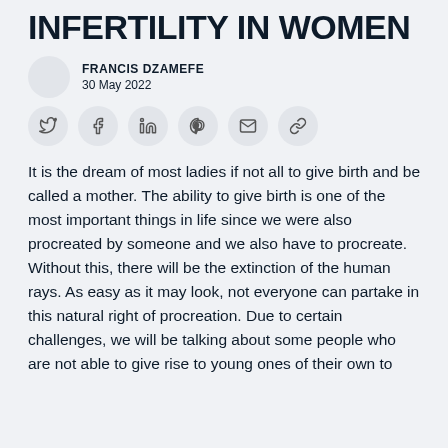INFERTILITY IN WOMEN
FRANCIS DZAMEFE
30 May 2022
[Figure (other): Social sharing icons row: Twitter, Facebook, LinkedIn, Pinterest, Email, Link]
It is the dream of most ladies if not all to give birth and be called a mother. The ability to give birth is one of the most important things in life since we were also procreated by someone and we also have to procreate. Without this, there will be the extinction of the human rays. As easy as it may look, not everyone can partake in this natural right of procreation. Due to certain challenges, we will be talking about some people who are not able to give rise to young ones of their own to